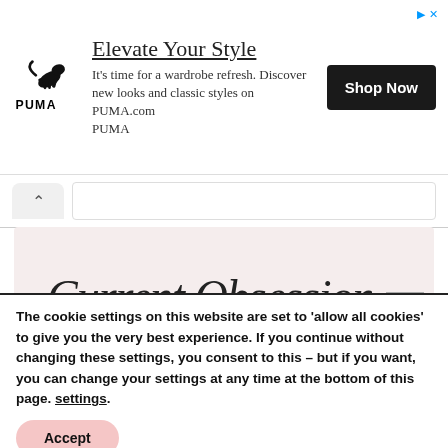[Figure (screenshot): PUMA advertisement banner with logo, headline 'Elevate Your Style', body text, and Shop Now button]
[Figure (screenshot): Browser navigation bar with up arrow tab and address bar]
Current Obsessions
The cookie settings on this website are set to 'allow all cookies' to give you the very best experience. If you continue without changing these settings, you consent to this – but if you want, you can change your settings at any time at the bottom of this page. settings.